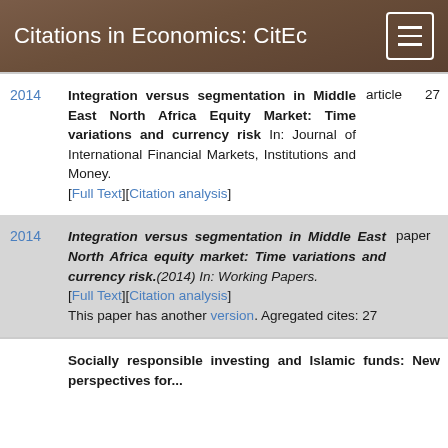Citations in Economics: CitEc
2014 — Integration versus segmentation in Middle East North Africa Equity Market: Time variations and currency risk In: Journal of International Financial Markets, Institutions and Money. [Full Text][Citation analysis] article 27
2014 — Integration versus segmentation in Middle East North Africa equity market: Time variations and currency risk.(2014) In: Working Papers. [Full Text][Citation analysis] This paper has another version. Agregated cites: 27 paper
Socially responsible investing and Islamic funds: New perspectives for...